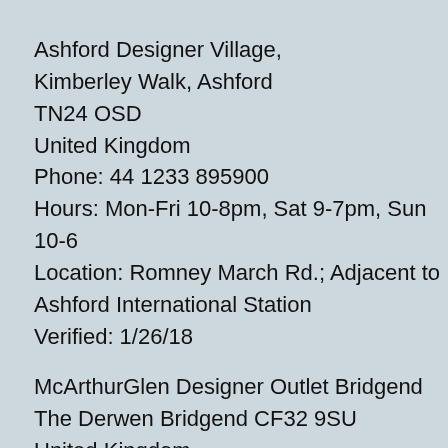McArthurGlen Designer Outlet Ashford
Ashford Designer Village,
Kimberley Walk, Ashford
TN24 OSD
United Kingdom
Phone: 44 1233 895900
Hours: Mon-Fri 10-8pm, Sat 9-7pm, Sun 10-6
Location: Romney March Rd.; Adjacent to Ashford International Station
Verified: 1/26/18
McArthurGlen Designer Outlet Bridgend
The Derwen Bridgend CF32 9SU
United Kingdom